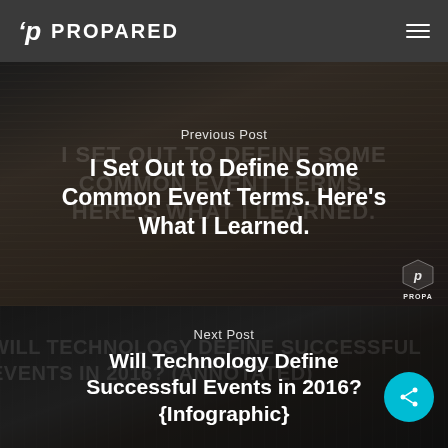PROPARED
Previous Post
I Set Out to Define Some Common Event Terms. Here's What I Learned.
Next Post
Will Technology Define Successful Events in 2016? {Infographic}